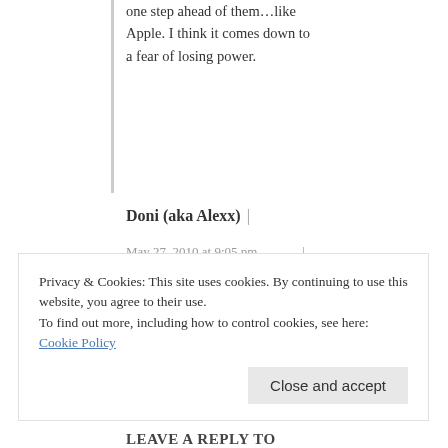one step ahead of them…like Apple. I think it comes down to a fear of losing power.
Doni (aka Alexx) |
May 27, 2010 at 9:05 pm |
Reply
Well… Ummm… As a reader I like choices. As the wife of an author … I would not mind the
Privacy & Cookies: This site uses cookies. By continuing to use this website, you agree to their use.
To find out more, including how to control cookies, see here: Cookie Policy
Close and accept
LEAVE A REPLY TO